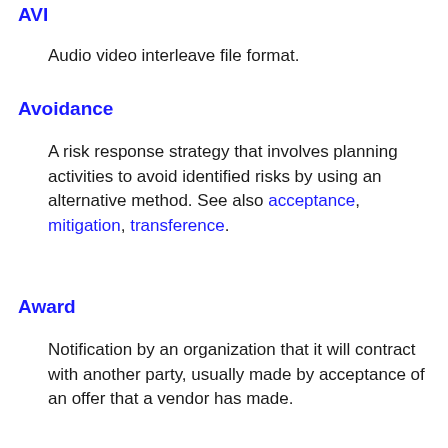AVI
Audio video interleave file format.
Avoidance
A risk response strategy that involves planning activities to avoid identified risks by using an alternative method. See also acceptance, mitigation, transference.
Award
Notification by an organization that it will contract with another party, usually made by acceptance of an offer that a vendor has made.